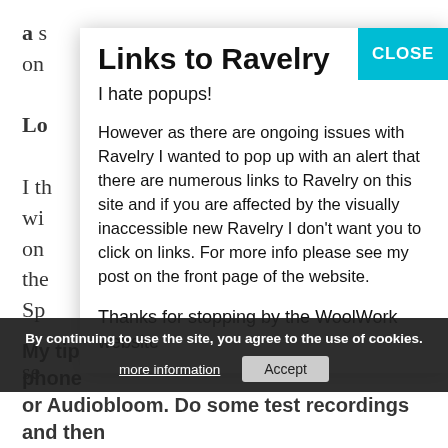a s
on
Lo
I th    ly
wi
on      o
the
Sp
se
effectively and efficiently – and allows one to avoid being sidetracked as the conversation ensues.
Eric Lutz, Sticks + Twine
[Figure (screenshot): Modal popup dialog titled 'Links to Ravelry' with a teal CLOSE button. Contains text: 'I hate popups! However as there are ongoing issues with Ravelry I wanted to pop up with an alert that there are numerous links to Ravelry on this site and if you are affected by the visually inaccessible new Ravelry I don't want you to click on links. For more info please see my post on the front page of the website. Thanks for stopping by the WoolWork website']
By continuing to use the site, you agree to the use of cookies.
My tip would be to download Cogi to your phone or Audiobloom. Do some test recordings and then